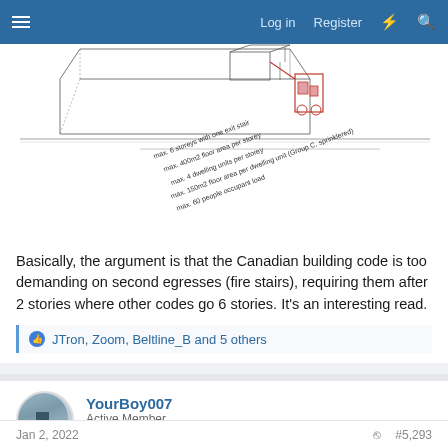Log in  Register
[Figure (engineering-diagram): Architectural/engineering diagram showing a building cross-section with annotations: max. 6 storeys with one exit stair, max. 400m2 floor area per storey, max. 4 dwelling units per storey, max. 150m2 floor area per dwelling unit (Group C, sprinklered), max. 60 people occupant load]
Basically, the argument is that the Canadian building code is too demanding on second egresses (fire stairs), requiring them after 2 stories where other codes go 6 stories. It's an interesting read.
JTron, Zoom, Beltline_B and 5 others
YourBoy007
Active Member
Jan 2, 2022  #5,293